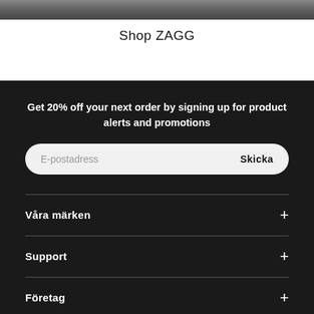[Figure (photo): Photo strip at the top of the page showing partial image of people]
Shop ZAGG
Get 20% off your next order by signing up for product alerts and promotions
E-postadress   Skicka
Våra märken +
Support +
Företag +